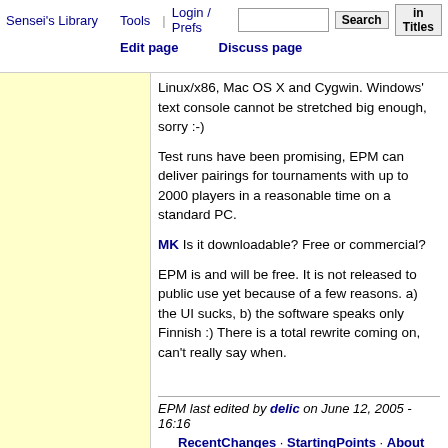Tools | Login / Prefs | Search | in Titles | Edit page | Discuss page | Sensei's Library
Linux/x86, Mac OS X and Cygwin. Windows' text console cannot be stretched big enough, sorry :-)
Test runs have been promising, EPM can deliver pairings for tournaments with up to 2000 players in a reasonable time on a standard PC.
MK Is it downloadable? Free or commercial?
EPM is and will be free. It is not released to public use yet because of a few reasons. a) the UI sucks, b) the software speaks only Finnish :) There is a total rewrite coming on, can't really say when.
EPM last edited by delic on June 12, 2005 - 16:16 · RecentChanges · StartingPoints · About · Edit page · Search · Related · Page info · Latest diff